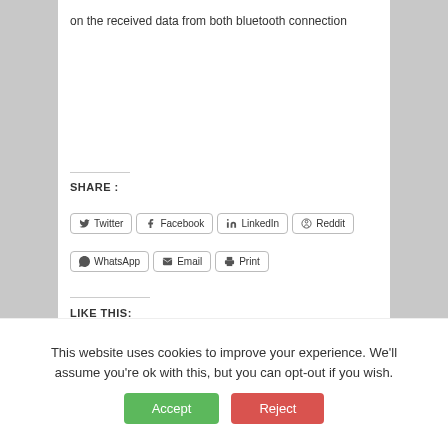on the received data from both bluetooth connection
SHARE :
[Figure (other): Social share buttons: Twitter, Facebook, LinkedIn, Reddit, WhatsApp, Email, Print]
LIKE THIS:
Loading...
This website uses cookies to improve your experience. We'll assume you're ok with this, but you can opt-out if you wish.